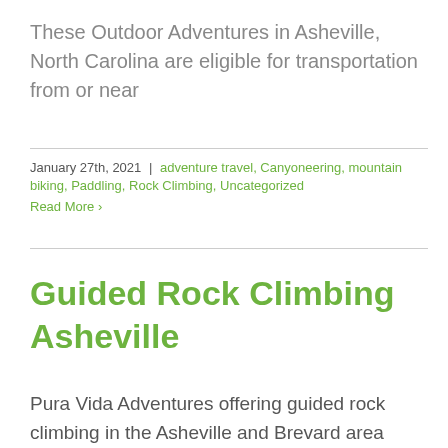These Outdoor Adventures in Asheville, North Carolina are eligible for transportation from or near
January 27th, 2021 | adventure travel, Canyoneering, mountain biking, Paddling, Rock Climbing, Uncategorized
Read More >
Guided Rock Climbing Asheville
Pura Vida Adventures offering guided rock climbing in the Asheville and Brevard area